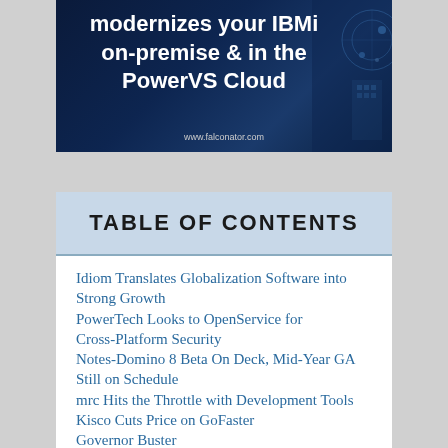[Figure (illustration): Dark blue advertisement banner with white bold text reading 'modernizes your IBMi on-premise & in the PowerVS Cloud' and website URL www.falconator.com at the bottom, with a blue digital/tech graphic on the right side.]
TABLE OF CONTENTS
Idiom Translates Globalization Software into Strong Growth
PowerTech Looks to OpenService for Cross-Platform Security
Notes-Domino 8 Beta On Deck, Mid-Year GA Still on Schedule
mrc Hits the Throttle with Development Tools
Kisco Cuts Price on GoFaster
Governor Buster
SPSS Rolls Out Clementine Version 11